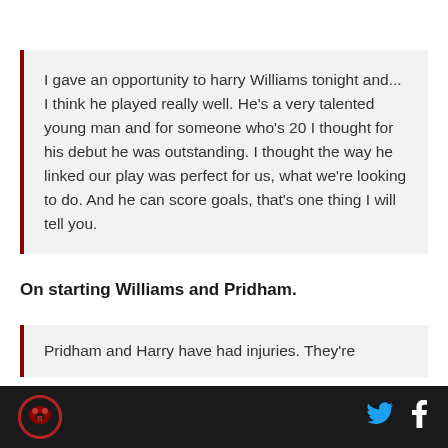I gave an opportunity to harry Williams tonight and... I think he played really well. He's a very talented young man and for someone who's 20 I thought for his debut he was outstanding. I thought the way he linked our play was perfect for us, what we're looking to do. And he can score goals, that's one thing I will tell you.
On starting Williams and Pridham.
Pridham and Harry have had injuries. They're
[Figure (logo): Circular bear logo in red and black]